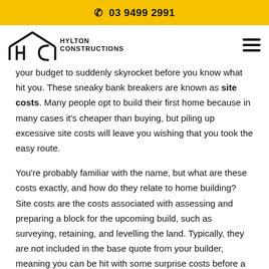03 9499 2991
[Figure (logo): Hylton Constructions logo with house outline and H-C letters, plus hamburger menu icon on right]
your budget to suddenly skyrocket before you know what hit you. These sneaky bank breakers are known as site costs. Many people opt to build their first home because in many cases it's cheaper than buying, but piling up excessive site costs will leave you wishing that you took the easy route.
You're probably familiar with the name, but what are these costs exactly, and how do they relate to home building? Site costs are the costs associated with assessing and preparing a block for the upcoming build, such as surveying, retaining, and levelling the land. Typically, they are not included in the base quote from your builder, meaning you can be hit with some surprise costs before a single frame can even be erected.